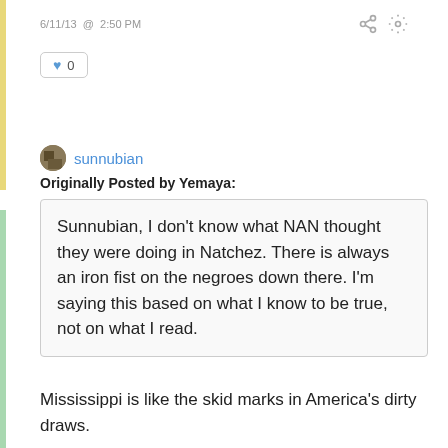6/11/13 @ 2:50 PM
♥ 0
sunnubian
Originally Posted by Yemaya:
Sunnubian, I don't know what NAN thought they were doing in Natchez. There is always an iron fist on the negroes down there. I'm saying this based on what I know to be true, not on what I read.
Mississippi is like the skid marks in America's dirty draws.